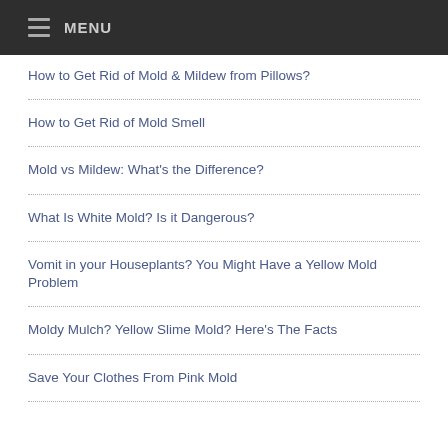MENU
How to Get Rid of Mold & Mildew from Pillows?
How to Get Rid of Mold Smell
Mold vs Mildew: What's the Difference?
What Is White Mold? Is it Dangerous?
Vomit in your Houseplants? You Might Have a Yellow Mold Problem
Moldy Mulch? Yellow Slime Mold? Here's The Facts
Save Your Clothes From Pink Mold